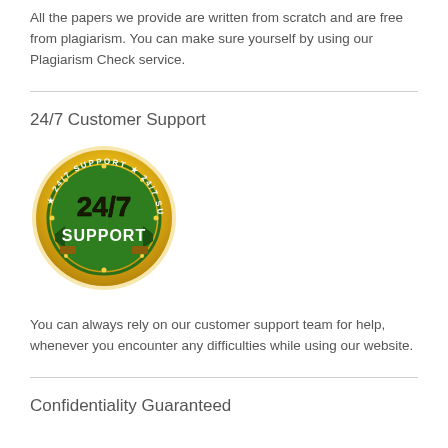All the papers we provide are written from scratch and are free from plagiarism. You can make sure yourself by using our Plagiarism Check service.
24/7 Customer Support
[Figure (illustration): A gold and green circular badge/seal with '24/7' in bold black text in the center and a green banner ribbon across it reading 'SUPPORT' in white text. The outer ring has dotted text reading '24/7 SUPPORT' around the circumference.]
You can always rely on our customer support team for help, whenever you encounter any difficulties while using our website.
Confidentiality Guaranteed